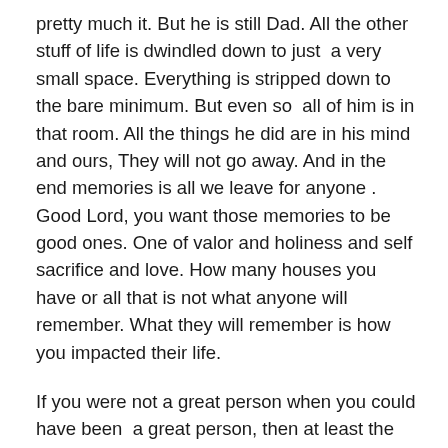pretty much it. But he is still Dad. All the other stuff of life is dwindled down to just a very small space. Everything is stripped down to the bare minimum. But even so all of him is in that room. All the things he did are in his mind and ours, They will not go away. And in the end memories is all we leave for anyone . Good Lord, you want those memories to be good ones. One of valor and holiness and self sacrifice and love. How many houses you have or all that is not what anyone will remember. What they will remember is how you impacted their life.
If you were not a great person when you could have been a great person, then at least the end of life could be sweet if it is full of asking forgiveness. At the very least say you are sorry before you cannot. I know for a fact that many people would have much much better after you are gone, if you just say your sorry. I think people would be amazed at how much someone can forgive if given half